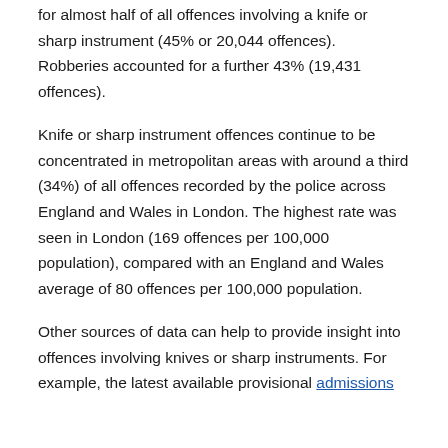for almost half of all offences involving a knife or sharp instrument (45% or 20,044 offences). Robberies accounted for a further 43% (19,431 offences).
Knife or sharp instrument offences continue to be concentrated in metropolitan areas with around a third (34%) of all offences recorded by the police across England and Wales in London. The highest rate was seen in London (169 offences per 100,000 population), compared with an England and Wales average of 80 offences per 100,000 population.
Other sources of data can help to provide insight into offences involving knives or sharp instruments. For example, the latest available provisional admissions